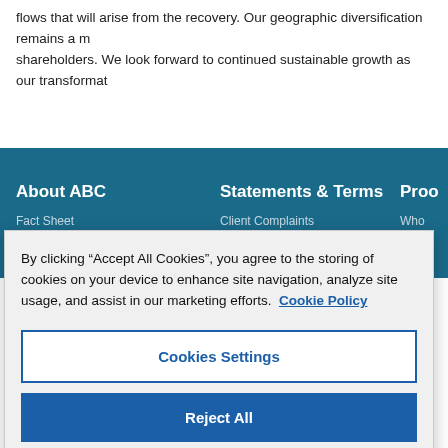flows that will arise from the recovery. Our geographic diversification remains a m shareholders. We look forward to continued sustainable growth as our transforma
About ABC
Statements & Terms
Proo
Fact Sheet
Client Complaints
Who
By clicking “Accept All Cookies”, you agree to the storing of cookies on your device to enhance site navigation, analyze site usage, and assist in our marketing efforts. Cookie Policy
Cookies Settings
Reject All